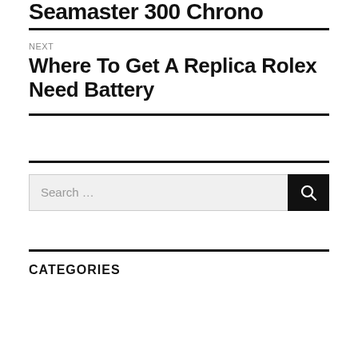Seamaster 300 Chrono
NEXT
Where To Get A Replica Rolex Need Battery
[Figure (other): Search box with text 'Search ...' and dark search button with magnifier icon]
CATEGORIES